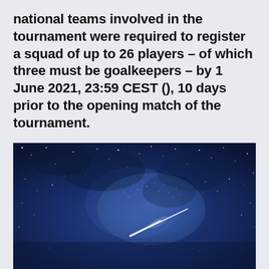national teams involved in the tournament were required to register a squad of up to 26 players – of which three must be goalkeepers – by 1 June 2021, 23:59 CEST (), 10 days prior to the opening match of the tournament.
[Figure (photo): Night sky photograph showing the Milky Way galaxy with a bright meteor or shooting star streak across a deep blue starry background]